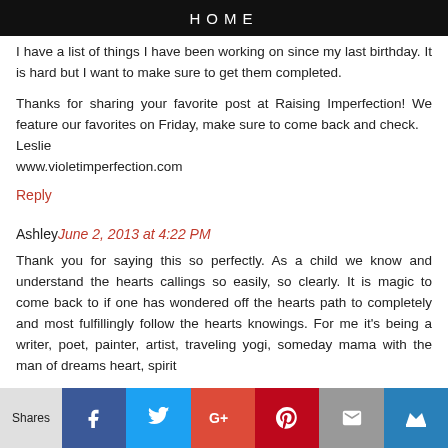HOME
I have a list of things I have been working on since my last birthday. It is hard but I want to make sure to get them completed.
Thanks for sharing your favorite post at Raising Imperfection! We feature our favorites on Friday, make sure to come back and check.
Leslie
www.violetimperfection.com
Reply
Ashley June 2, 2013 at 4:22 PM
Thank you for saying this so perfectly. As a child we know and understand the hearts callings so easily, so clearly. It is magic to come back to if one has wondered off the hearts path to completely and most fulfillingly follow the hearts knowings. For me it's being a writer, poet, painter, artist, traveling yogi, someday mama with the man of dreams heart spirit